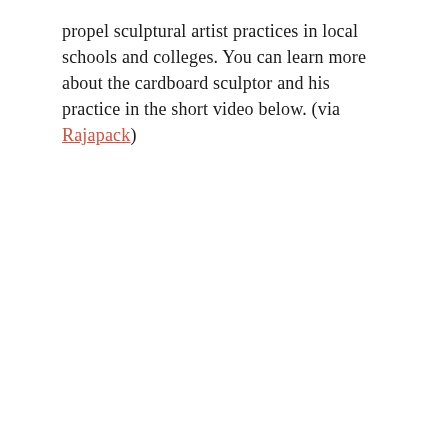propel sculptural artist practices in local schools and colleges. You can learn more about the cardboard sculptor and his practice in the short video below. (via Rajapack)